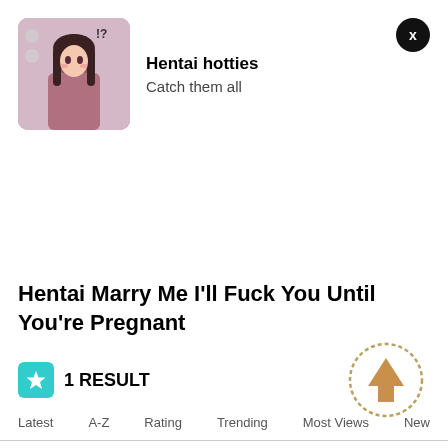[Figure (illustration): Thumbnail image for Hentai hotties app/channel showing anime illustration]
Hentai hotties
Catch them all
Hentai Marry Me I'll Fuck You Until You're Pregnant
1 RESULT
Latest   A-Z   Rating   Trending   Most Views   New